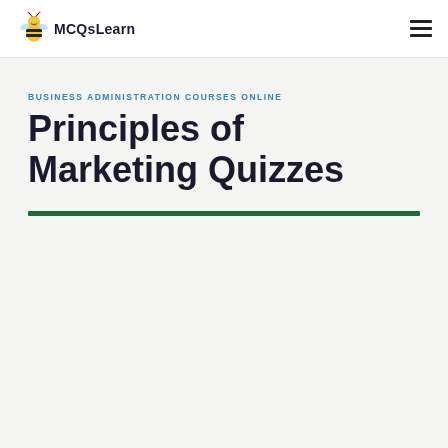MCQsLearn
BUSINESS ADMINISTRATION COURSES ONLINE
Principles of Marketing Quizzes